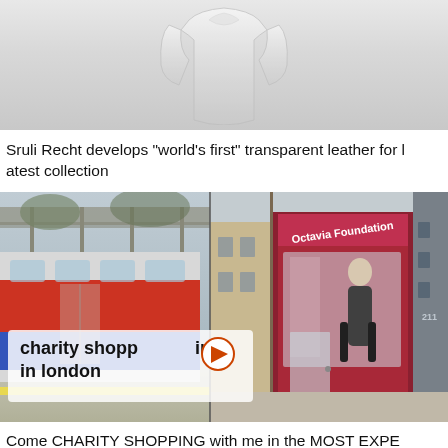[Figure (photo): Cropped photo of a white/transparent garment or jacket on a light gray background, showing the lower portion of the item]
Sruli Recht develops "world's first" transparent leather for latest collection
[Figure (photo): Split composite image: left side shows a London Underground train at a platform; right side shows a woman in a black and white patterned coat standing outside a red-fronted Octavia Foundation charity shop. Overlay text reads 'charity shopp-ing in london' with a play button icon.]
Come CHARITY SHOPPING with me in the MOST EXPENSIVE areas of LONDON! Thrift Shopping Vlog